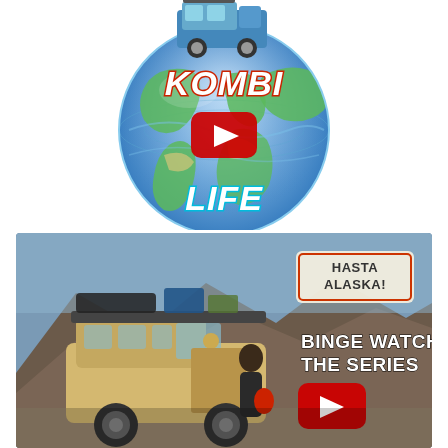[Figure (logo): Kombi Life logo: a globe with blue/green continents, text 'KOMBI' at top in chunky red-outlined white letters and 'LIFE' at bottom in chunky cyan-outlined white letters, a YouTube play button (red rounded rectangle with white triangle) in the center, and a VW Kombi van illustration on top of the globe.]
[Figure (photo): Photo of a vintage VW Kombi bus (yellow/tan) with roof rack and equipment, parked on a mountain road with brown/grey mountains in background under blue sky. A person stands at the open side door holding a red container. Upper right overlay text reads 'HASTA ALASKA!' in a badge/stamp style. Lower right text reads 'Binge Watch the Series' in bold white letters. A red YouTube play button is at bottom right.]